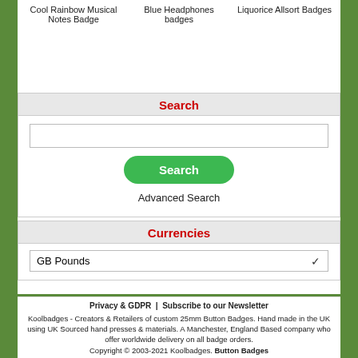Cool Rainbow Musical Notes Badge
Blue Headphones badges
Liquorice Allsort Badges
Search
Advanced Search
Currencies
GB Pounds
Privacy & GDPR | Subscribe to our Newsletter
Koolbadges - Creators & Retailers of custom 25mm Button Badges. Hand made in the UK using UK Sourced hand presses & materials. A Manchester, England Based company who offer worldwide delivery on all badge orders.
Copyright © 2003-2021 Koolbadges. Button Badges